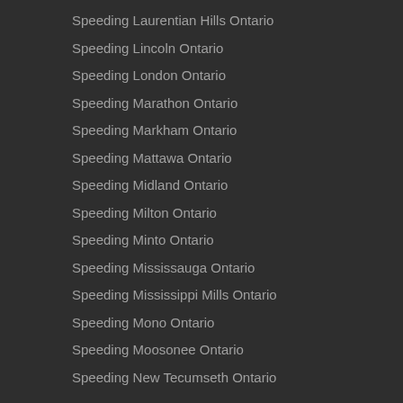Speeding Laurentian Hills Ontario
Speeding Lincoln Ontario
Speeding London Ontario
Speeding Marathon Ontario
Speeding Markham Ontario
Speeding Mattawa Ontario
Speeding Midland Ontario
Speeding Milton Ontario
Speeding Minto Ontario
Speeding Mississauga Ontario
Speeding Mississippi Mills Ontario
Speeding Mono Ontario
Speeding Moosonee Ontario
Speeding New Tecumseth Ontario